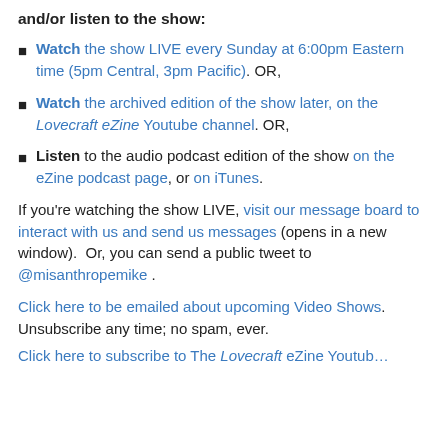and/or listen to the show:
Watch the show LIVE every Sunday at 6:00pm Eastern time (5pm Central, 3pm Pacific). OR,
Watch the archived edition of the show later, on the Lovecraft eZine Youtube channel. OR,
Listen to the audio podcast edition of the show on the eZine podcast page, or on iTunes.
If you're watching the show LIVE, visit our message board to interact with us and send us messages (opens in a new window).  Or, you can send a public tweet to @misanthropemike .
Click here to be emailed about upcoming Video Shows.  Unsubscribe any time; no spam, ever.
Click here to subscribe to The Lovecraft eZine Youtub…